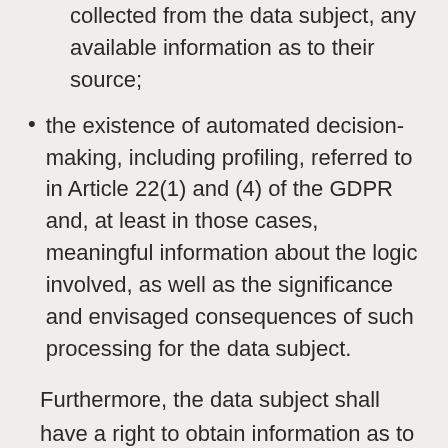where the personal data are not collected from the data subject, any available information as to their source;
the existence of automated decision-making, including profiling, referred to in Article 22(1) and (4) of the GDPR and, at least in those cases, meaningful information about the logic involved, as well as the significance and envisaged consequences of such processing for the data subject.
Furthermore, the data subject shall have a right to obtain information as to whether personal data are transferred to a third country or to an international organisation. Where this is the case, the data subject shall have the right to be informed of the appropriate safeguards